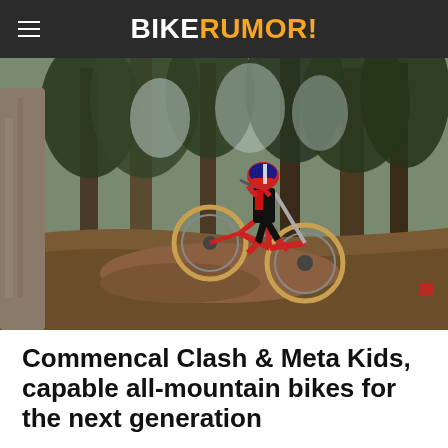BIKERUMOR!
[Figure (photo): A child mountain biker in red and black gear with a full-face helmet rides a Commencal bike off a dirt jump/drop in a forest setting with tall trees in the background.]
Commencal Clash & Meta Kids, capable all-mountain bikes for the next generation
Posted on February 1, 2019 by Cory Benson